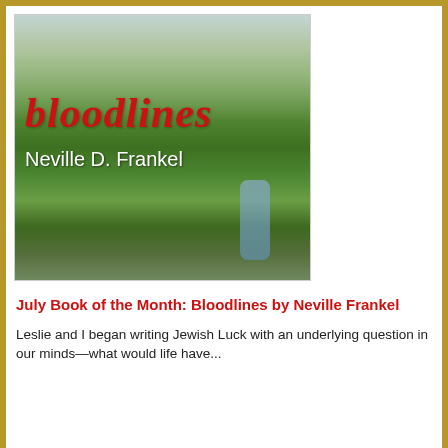[Figure (illustration): Book cover of 'bloodlines' by Neville D. Frankel. Shows green rolling hills with a stream and clouds in the background. Title 'bloodlines' in large red italic text and author name 'Neville D. Frankel' in white text.]
July Book of the Month: Bloodlines by Neville Frankel
Leslie and I began writing Jewish Luck with an underlying question in our minds—what would life have...